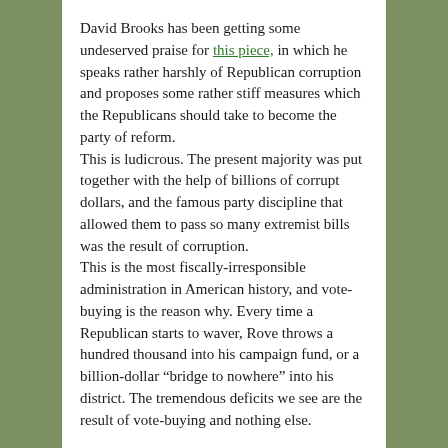David Brooks has been getting some undeserved praise for this piece, in which he speaks rather harshly of Republican corruption and proposes some rather stiff measures which the Republicans should take to become the party of reform.
This is ludicrous. The present majority was put together with the help of billions of corrupt dollars, and the famous party discipline that allowed them to pass so many extremist bills was the result of corruption.
This is the most fiscally-irresponsible administration in American history, and vote-buying is the reason why. Every time a Republican starts to waver, Rove throws a hundred thousand into his campaign fund, or a billion-dollar “bridge to nowhere” into his district. The tremendous deficits we see are the result of vote-buying and nothing else.
My guess is that Brooks fears that the Democrats might take over, and is proposing the new ethics rules in order